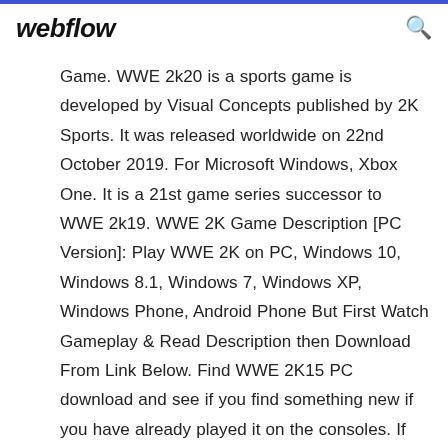webflow
Game. WWE 2k20 is a sports game is developed by Visual Concepts published by 2K Sports. It was released worldwide on 22nd October 2019. For Microsoft Windows, Xbox One. It is a 21st game series successor to WWE 2k19. WWE 2K Game Description [PC Version]: Play WWE 2K on PC, Windows 10, Windows 8.1, Windows 7, Windows XP, Windows Phone, Android Phone But First Watch Gameplay & Read Description then Download From Link Below. Find WWE 2K15 PC download and see if you find something new if you have already played it on the consoles. If you have not played it yet and were waiting to find a PC version of WWE 2K15 [text continues]